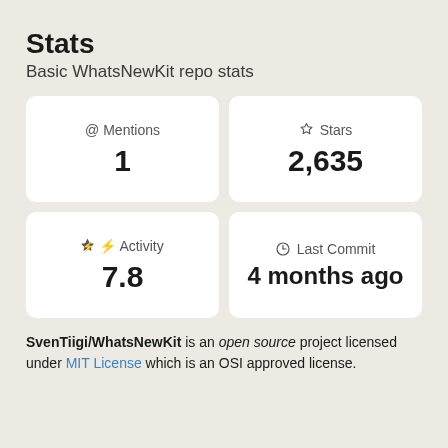Stats
Basic WhatsNewKit repo stats
@ Mentions
1
Stars
2,635
Activity
7.8
Last Commit
4 months ago
SvenTiigi/WhatsNewKit is an open source project licensed under MIT License which is an OSI approved license.